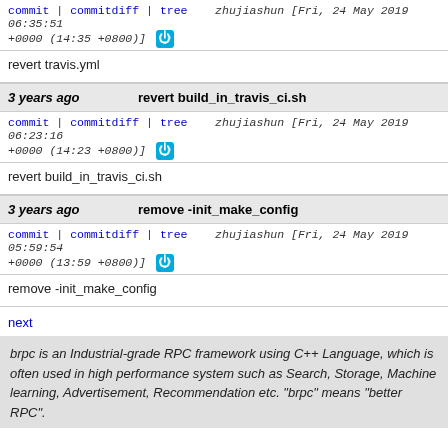commit | commitdiff | tree   zhujiashun [Fri, 24 May 2019 06:35:51 +0000 (14:35 +0800)]
revert travis.yml
3 years ago   revert build_in_travis_ci.sh
commit | commitdiff | tree   zhujiashun [Fri, 24 May 2019 06:23:16 +0000 (14:23 +0800)]
revert build_in_travis_ci.sh
3 years ago   remove -init_make_config
commit | commitdiff | tree   zhujiashun [Fri, 24 May 2019 05:59:54 +0000 (13:59 +0800)]
remove -init_make_config
next
brpc is an Industrial-grade RPC framework using C++ Language, which is often used in high performance system such as Search, Storage, Machine learning, Advertisement, Recommendation etc. "brpc" means "better RPC".